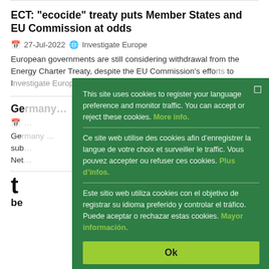ECT: “ecocide” treaty puts Member States and EU Commission at odds
27-Jul-2022 • Investigate Europe
European governments are still considering withdrawal from the Energy Charter Treaty, despite the EU Commission’s efforts to Investigate Europe
Ge…
Ger… sub… Net…
t
be
This site uses cookies to register your language preference and monitor traffic. You can accept or reject these cookies. More info.
Ce site web utilise des cookies afin d’enregistrer la langue de votre choix et surveiller le traffic. Vous pouvez accepter ou refuser ces cookies. Plus d’infos.
Este sitio web utiliza cookies con el objetivo de registrar su idioma preferido y controlar el tráfico. Puede aceptar o rechazar estas cookies. Mayor información.
Ok